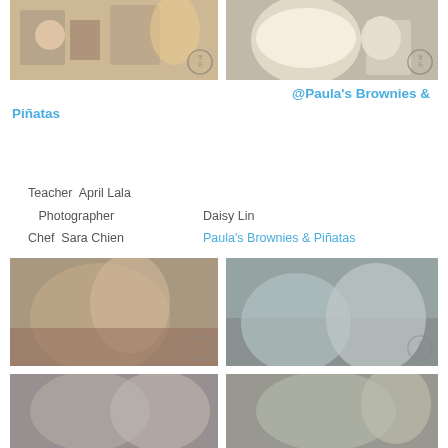[Figure (photo): Top left photo: children at a table with craft/food supplies]
[Figure (photo): Top right photo: close-up of a bowl of food/dessert]
@Paula's Brownies & Piñatas
Teacher  April Lala
   Photographer       Daisy Lin
Chef  Sara Chien       Paula's Brownies & Piñatas
[Figure (photo): Middle left photo: children playing on the floor]
[Figure (photo): Middle right photo: two children laughing and making faces]
[Figure (photo): Bottom left photo: adults and children looking at something together]
[Figure (photo): Bottom right photo: two children posing and smiling outdoors]